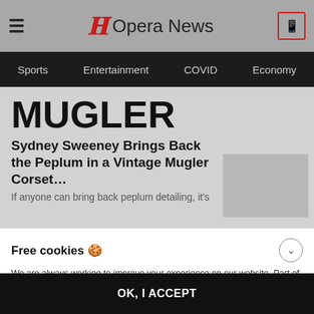Opera News
Sports  Entertainment  COVID  Economy
MUGLER
Sydney Sweeney Brings Back the Peplum in a Vintage Mugler Corset…
If anyone can bring back peplum detailing, it's
Free cookies 🍪
We are always working to improve your experience on our website. Part of this involves using cookies to collect anonymous data for statistics and personalization. We may also use your data to tailor ads for you and our partners will collect data and use cookies for ad personalisation and measurement. Further information on how we and our partners collect and use data can be found in our Privacy Statement and Cookies Policy , as well as the common used Ad Technology Providers list .
OK, I ACCEPT